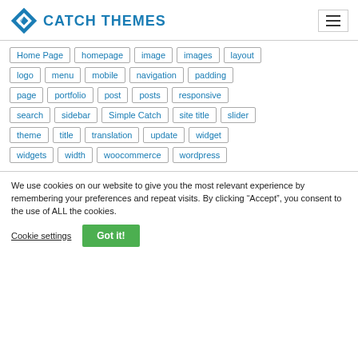CATCH THEMES
Home Page
homepage
image
images
layout
logo
menu
mobile
navigation
padding
page
portfolio
post
posts
responsive
search
sidebar
Simple Catch
site title
slider
theme
title
translation
update
widget
widgets
width
woocommerce
wordpress
We use cookies on our website to give you the most relevant experience by remembering your preferences and repeat visits. By clicking “Accept”, you consent to the use of ALL the cookies.
Cookie settings | Got it!